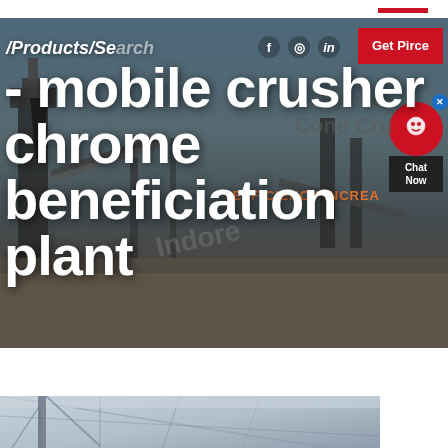[Figure (photo): Industrial mobile crusher / chrome beneficiation plant machinery at an outdoor industrial site with conveyor belts and heavy equipment against a blue sky]
/Products/Search - mobile crusher - chrome beneficiation plant
[Figure (photo): Interior of an industrial facility showing structural steel framework and ceiling]